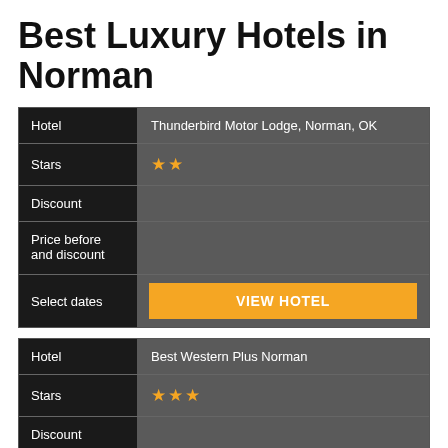Best Luxury Hotels in Norman
| Hotel | Thunderbird Motor Lodge, Norman, OK |
| --- | --- |
| Stars | ★★ |
| Discount |  |
| Price before and discount |  |
| Select dates | VIEW HOTEL |
| Hotel | Best Western Plus Norman |
| --- | --- |
| Stars | ★★★ |
| Discount |  |